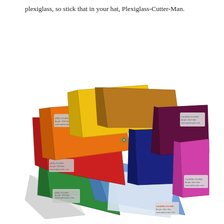plexiglass, so stick that in your hat, Plexiglass-Cutter-Man.
[Figure (photo): A fan of colorful acrylic/plexiglass sample sheets arranged in a spread, showing colors including orange, yellow, amber/brown, dark purple, red, dark blue, green, light blue/clear, magenta/pink, and clear. Each sheet has a small label sticker on one corner.]